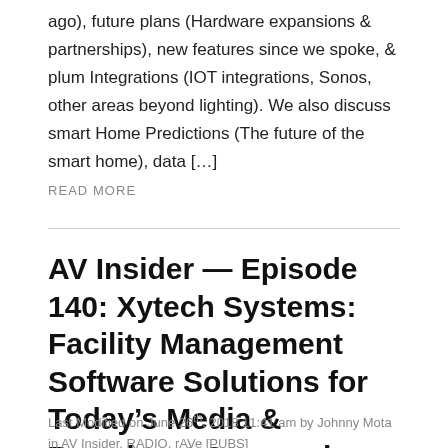ago), future plans (Hardware expansions & partnerships), new features since we spoke, & plum Integrations (IOT integrations, Sonos, other areas beyond lighting). We also discuss smart Home Predictions (The future of the smart home), data […]
READ MORE
AV Insider — Episode 140: Xytech Systems: Facility Management Software Solutions for Today's Media & Broadcast Companies
Last Modified on June 26th, 2018 11:41 am by Johnny Mota in AV Insider, RADIO, rAVe [PUBS]